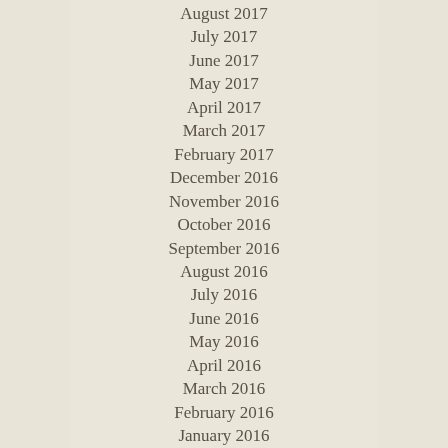August 2017
July 2017
June 2017
May 2017
April 2017
March 2017
February 2017
December 2016
November 2016
October 2016
September 2016
August 2016
July 2016
June 2016
May 2016
April 2016
March 2016
February 2016
January 2016
December 2015
November 2015